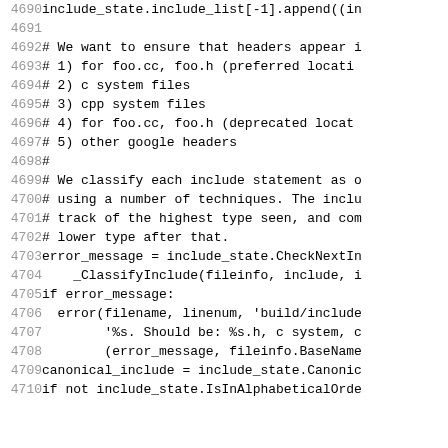Code listing lines 4690-4710 showing Python source code for include order checking logic